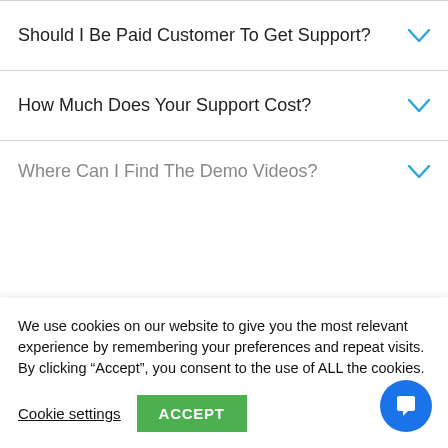Should I Be Paid Customer To Get Support?
How Much Does Your Support Cost?
Where Can I Find The Demo Videos?
We use cookies on our website to give you the most relevant experience by remembering your preferences and repeat visits. By clicking “Accept”, you consent to the use of ALL the cookies.
Cookie settings
ACCEPT